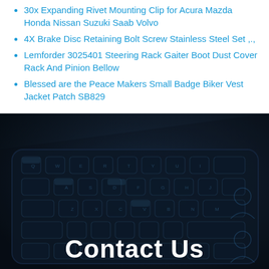30x Expanding Rivet Mounting Clip for Acura Mazda Honda Nissan Suzuki Saab Volvo
4X Brake Disc Retaining Bolt Screw Stainless Steel Set .,.
Lemforder 3025401 Steering Rack Gaiter Boot Dust Cover Rack And Pinion Bellow
Blessed are the Peace Makers Small Badge Biker Vest Jacket Patch SB829
[Figure (photo): Dark keyboard photo with a 'Contact Us' label overlaid in large white bold text at the bottom center.]